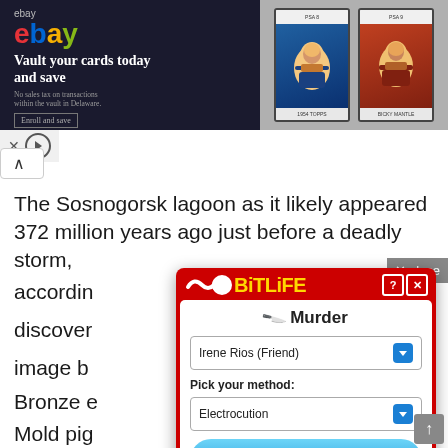[Figure (screenshot): eBay advertisement banner: 'Vault your cards today and save' with baseball cards shown on right side]
[Figure (screenshot): BitLife mobile game popup showing 'Murder' dialog with dropdown for 'Irene Rios (Friend)', method 'Electrocution', 'Do it!' button and 'No, what am I thinking?' button]
The Sosnogorsk lagoon as it likely appeared 372 million years ago just before a deadly storm, according to [partially obscured] discovered [partially obscured] le of the image b[partially obscured]
Bronze a[partially obscured] ern German[partially obscured] ze Age warrior.
Mold pig[partially obscured] us and species of microinvertebrates that lived 30 million